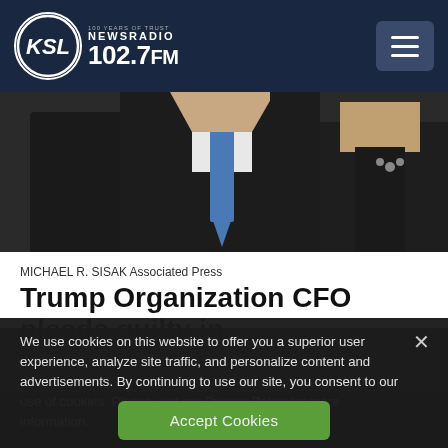KSL NewsRadio 102.7FM — 100 Years of Trust
[Figure (photo): Two people in dark suits, one with a blue tie, partial view from torso up]
MICHAEL R. SISAK Associated Press
Trump Organization CFO pleads guilty in
We use cookies on this website to offer you a superior user experience, analyze site traffic, and personalize content and advertisements. By continuing to use our site, you consent to our use of cookies. Please visit our Privacy Policy for more information.
Accept Cookies